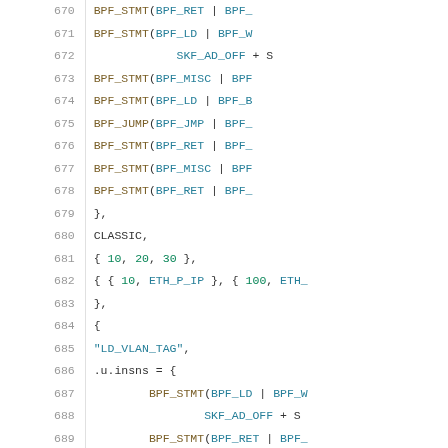Source code listing lines 670-690, showing BPF filter program definitions in C, including BPF_STMT, BPF_JUMP macros, CLASSIC mode, and test vectors.